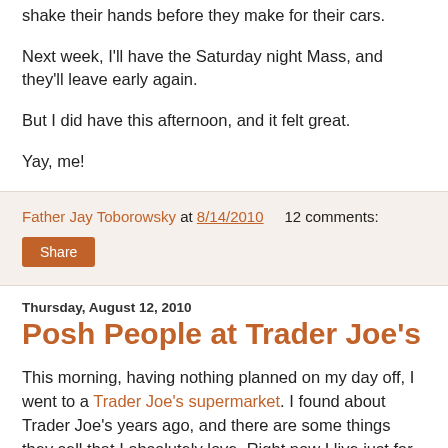shake their hands before they make for their cars.
Next week, I'll have the Saturday night Mass, and they'll leave early again.
But I did have this afternoon, and it felt great.
Yay, me!
Father Jay Toborowsky at 8/14/2010   12 comments:
Share
Thursday, August 12, 2010
Posh People at Trader Joe's
This morning, having nothing planned on my day off, I went to a Trader Joe's supermarket. I found about Trader Joe's years ago, and there are some things they sell that I absolutely love. Right now I live just far enough not to make a habit of going there, but close enough that it's entirely do-